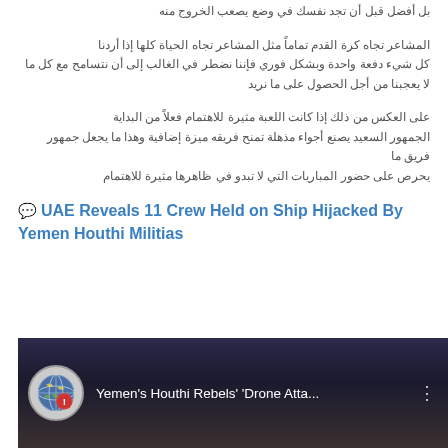[Arabic text line 1 - partial paragraph continuation]
[Arabic text paragraph 2]
[Arabic text paragraph 3]
💬 UAE Reveals 11 Crew Held on Ship Hijacked By Yemen Houthi Militias
[Figure (screenshot): YouTube video thumbnail showing Yemen's Houthi Rebels' 'Drone Atta...' with a globe/news icon and dark smoke background]